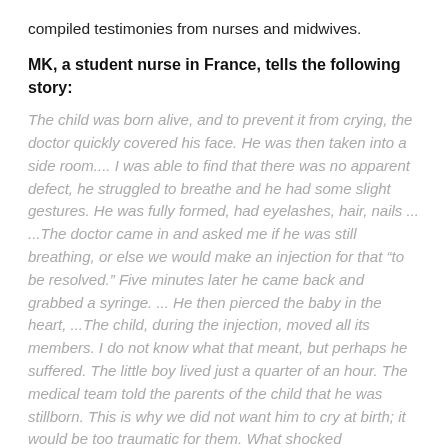compiled testimonies from nurses and midwives.
MK, a student nurse in France, tells the following story:
The child was born alive, and to prevent it from crying, the doctor quickly covered his face. He was then taken into a side room.... I was able to find that there was no apparent defect, he struggled to breathe and he had some slight gestures. He was fully formed, had eyelashes, hair, nails ... ...The doctor came in and asked me if he was still breathing, or else we would make an injection for that “to be resolved.” Five minutes later he came back and grabbed a syringe. ... He then pierced the baby in the heart, ...The child, during the injection, moved all its members. I do not know what that meant, but perhaps he suffered. The little boy lived just a quarter of an hour. The medical team told the parents of the child that he was stillborn. This is why we did not want him to cry at birth; it would be too traumatic for them. What shocked